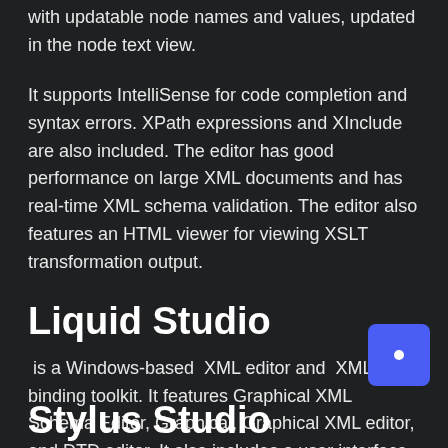with updatable node names and values, updated in the node text view.
It supports IntelliSense for code completion and syntax errors. XPath expressions and XInclude are also included. The editor has good performance on large XML documents and has real-time XML schema validation. The editor also features an HTML viewer for viewing XSLT transformation output.
Liquid Studio
is a Windows-based  XML editor and  XML data binding toolkit. It features Graphical XML Schema Editor, Graphical, Graphical XML editor, and DTD editor. It also includes a user interface extension to  Microsoft Visual Studio through the Visual Studio Industry Partner (VSIP) program.
Stylus Studio